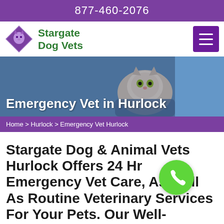877-460-2076
[Figure (logo): Stargate Dog Vets logo with purple diamond shape containing a dog/cat illustration and green brand name text]
[Figure (photo): Veterinarian in blue scrubs holding a white and grey cat - hero banner image]
Emergency Vet in Hurlock
Home > Hurlock > Emergency Vet Hurlock
Stargate Dog & Animal Vets Hurlock Offers 24 Hr Emergency Vet Care, As Well As Routine Veterinary Services For Your Pets. Our Well-Equipped Emergency